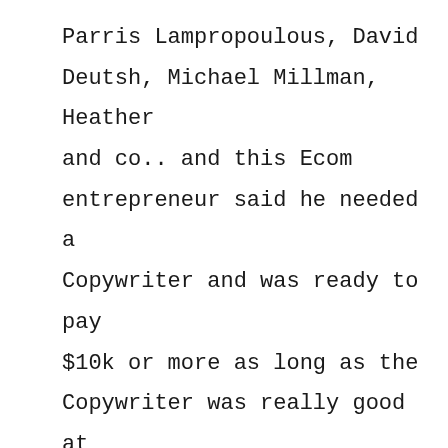Parris Lampropoulous, David Deutsh, Michael Millman, Heather and co.. and this Ecom entrepreneur said he needed a Copywriter and was ready to pay $10k or more as long as the Copywriter was really good at what they did...

He's already decided in his head